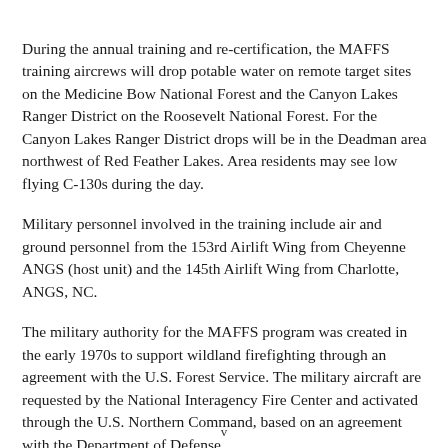During the annual training and re-certification, the MAFFS training aircrews will drop potable water on remote target sites on the Medicine Bow National Forest and the Canyon Lakes Ranger District on the Roosevelt National Forest. For the Canyon Lakes Ranger District drops will be in the Deadman area northwest of Red Feather Lakes. Area residents may see low flying C-130s during the day.
Military personnel involved in the training include air and ground personnel from the 153rd Airlift Wing from Cheyenne ANGS (host unit) and the 145th Airlift Wing from Charlotte, ANGS, NC.
The military authority for the MAFFS program was created in the early 1970s to support wildland firefighting through an agreement with the U.S. Forest Service. The military aircraft are requested by the National Interagency Fire Center and activated through the U.S. Northern Command, based on an agreement with the Department of Defense.
v